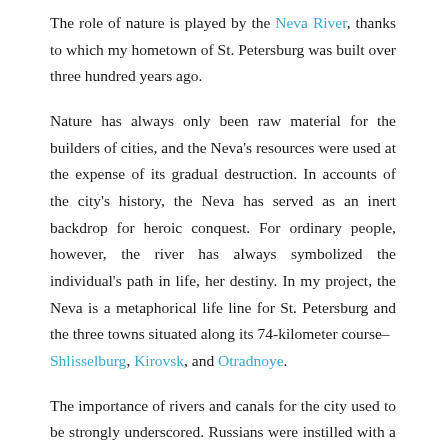The role of nature is played by the Neva River, thanks to which my hometown of St. Petersburg was built over three hundred years ago.
Nature has always only been raw material for the builders of cities, and the Neva's resources were used at the expense of its gradual destruction. In accounts of the city's history, the Neva has served as an inert backdrop for heroic conquest. For ordinary people, however, the river has always symbolized the individual's path in life, her destiny. In my project, the Neva is a metaphorical life line for St. Petersburg and the three towns situated along its 74-kilometer course– Shlisselburg, Kirovsk, and Otradnoye.
The importance of rivers and canals for the city used to be strongly underscored. Russians were instilled with a love of